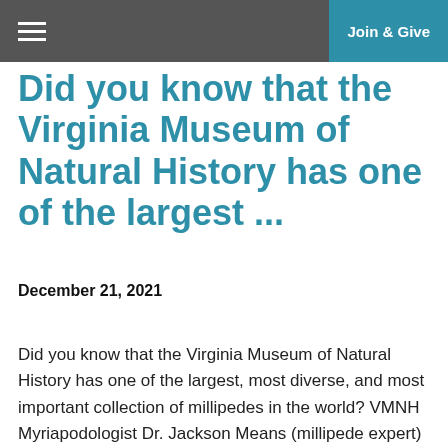Join & Give
Did you know that the Virginia Museum of Natural History has one of the largest ...
December 21, 2021
Did you know that the Virginia Museum of Natural History has one of the largest, most diverse, and most important collection of millipedes in the world? VMNH Myriapodologist Dr. Jackson Means (millipede expert) knows